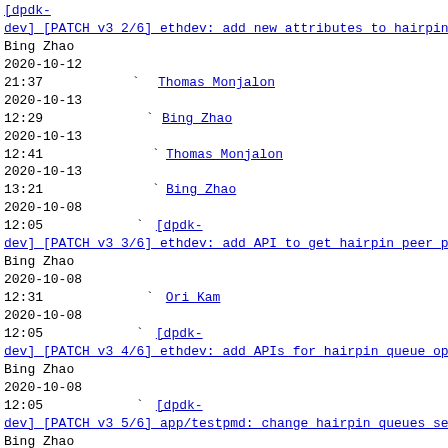[dpdk-dev] [PATCH v3 2/6] ethdev: add new attributes to hairpin config Bing Zhao 2020-10-12 21:37 Thomas Monjalon
2020-10-13 12:29 Bing Zhao
2020-10-13 12:41 Thomas Monjalon
2020-10-13 13:21 Bing Zhao
2020-10-08 12:05 [dpdk-dev] [PATCH v3 3/6] ethdev: add API to get hairpin peer ports list Bing Zhao
2020-10-08 12:31 Ori Kam
2020-10-08 12:05 [dpdk-dev] [PATCH v3 4/6] ethdev: add APIs for hairpin queue operation Bing Zhao
2020-10-08 12:05 [dpdk-dev] [PATCH v3 5/6] app/testpmd: change hairpin queues setup Bing Zhao
2020-10-08 12:05 [dpdk-dev] [PATCH v3 6/6] doc: update for two ports hairpin mode Bing Zhao
2020-10-12 21:30 Thomas Monjalon [this message]
2020-10-13 1:13 Bing Zhao
2020-10-13 6:37 Thomas Monjalon
2020-10-13 6:40 Bing Zhao
2020-10-13 16:19 [dpdk-dev] [PATCH v4 0/5] introduce support for hairpin between two ports Bing Zhao
2020-10-13 16:19 [dpdk-dev] [PATCH v4 1/5] ethdev: add hairpin bind and unbind APIs Bing Zhao
2020-10-14 14:43 Thomas Monjalon
2020-10-15 2:59 Bing Zhao
2020-10-13 16:19 [dpdk-dev] [PATCH v4 2/5] ethdev: add new attributes to hairpin config Bing Zhao
2020-10-13 16:19 [dpdk-dev] [PATCH v4 3/5]